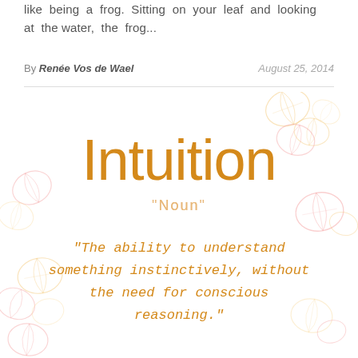like being a frog. Sitting on your leaf and looking at the water, the frog...
By Renée Vos de Wael    August 25, 2014
[Figure (illustration): Decorative illustration with the word 'Intuition' as title, 'Noun' as subtitle, and the definition 'The ability to understand something instinctively, without the need for conscious reasoning.' surrounded by watercolor-style leaf decorations in pink, orange, and yellow tones.]